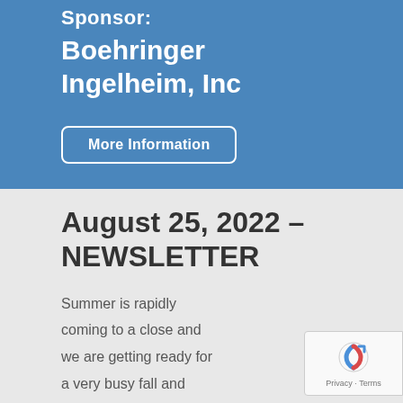Sponsor:
Boehringer Ingelheim, Inc
More Information
August 25, 2022 – NEWSLETTER
Summer is rapidly coming to a close and we are getting ready for a very busy fall and winter. We now are in the